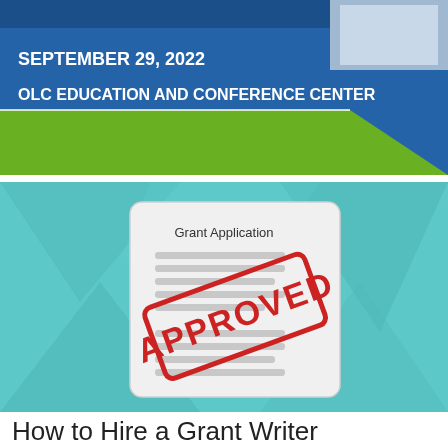[Figure (infographic): Blue and green banner header with text: SEPTEMBER 29, 2022 and OLC EDUCATION AND CONFERENCE CENTER, with a small image in the top right corner]
[Figure (illustration): A grant application document with an APPROVED red stamp overlay, set against a teal/light blue geometric background]
How to Hire a Grant Writer